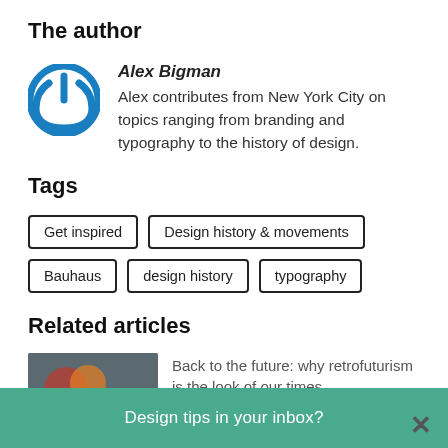The author
[Figure (logo): Blue circular power button icon]
Alex Bigman
Alex contributes from New York City on topics ranging from branding and typography to the history of design.
Tags
Get inspired
Design history & movements
Bauhaus
design history
typography
Related articles
[Figure (photo): Thumbnail image of related article about retrofuturism]
Back to the future: why retrofuturism is the look of our times
Design tips in your inbox?